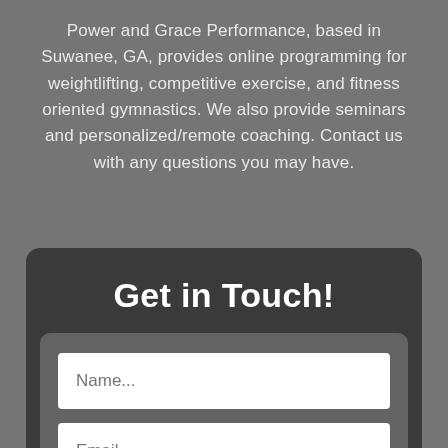Power and Grace Performance, based in Suwanee, GA, provides online programming for weightlifting, competitive exercise, and fitness oriented gymnastics. We also provide seminars and personalized/remote coaching. Contact us with any questions you may have.
Get in Touch!
[Figure (screenshot): Contact form with Name and Email input fields on a dark card background]